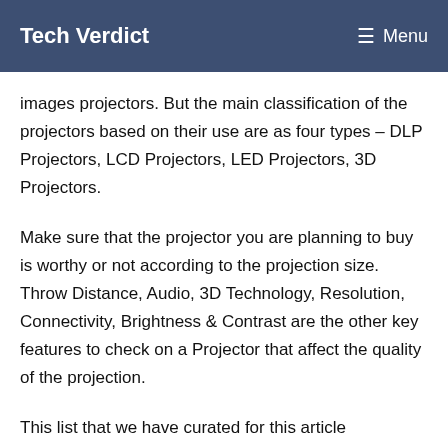Tech Verdict  Menu
images projectors. But the main classification of the projectors based on their use are as four types – DLP Projectors, LCD Projectors, LED Projectors, 3D Projectors.
Make sure that the projector you are planning to buy is worthy or not according to the projection size. Throw Distance, Audio, 3D Technology, Resolution, Connectivity, Brightness & Contrast are the other key features to check on a Projector that affect the quality of the projection.
This list that we have curated for this article